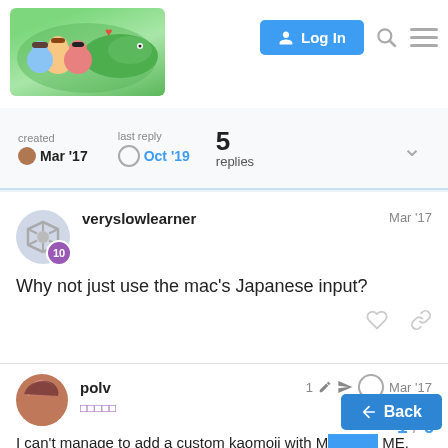Log In
created Mar '17  last reply Oct '19  5 replies
veryslowlearner  Mar '17
Why not just use the mac's Japanese input?
polv  Mar '17
I can't manage to add a custom kaomoji with M… ME.
As far as I can go is, here; but I still have to download custom dictionary from the Internet.
1 / 6